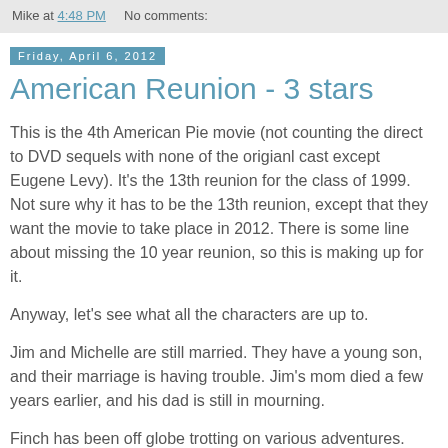Mike at 4:48 PM    No comments:
Friday, April 6, 2012
American Reunion - 3 stars
This is the 4th American Pie movie (not counting the direct to DVD sequels with none of the origianl cast except Eugene Levy). It's the 13th reunion for the class of 1999. Not sure why it has to be the 13th reunion, except that they want the movie to take place in 2012. There is some line about missing the 10 year reunion, so this is making up for it.
Anyway, let's see what all the characters are up to.
Jim and Michelle are still married. They have a young son, and their marriage is having trouble. Jim's mom died a few years earlier, and his dad is still in mourning.
Finch has been off globe trotting on various adventures.
Kevin is married (not to Vicky) and seems happy being a